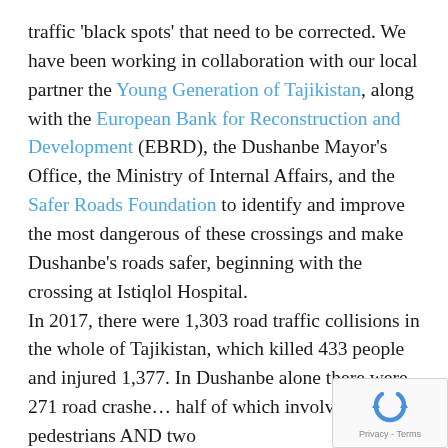traffic 'black spots' that need to be corrected. We have been working in collaboration with our local partner the Young Generation of Tajikistan, along with the European Bank for Reconstruction and Development (EBRD), the Dushanbe Mayor's Office, the Ministry of Internal Affairs, and the Safer Roads Foundation to identify and improve the most dangerous of these crossings and make Dushanbe's roads safer, beginning with the crossing at Istiqlol Hospital.

In 2017, there were 1,303 road traffic collisions in the whole of Tajikistan, which killed 433 people and injured 1,377. In Dushanbe alone there were 271 road crashe… half of which involved pedestrians AND two…
[Figure (other): reCAPTCHA badge widget in bottom-right corner showing recycled arrows logo with 'Privacy - Terms' text]